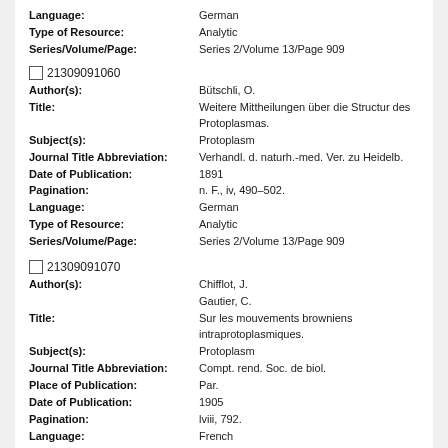Language: German
Type of Resource: Analytic
Series/Volume/Page: Series 2/Volume 13/Page 909
21309091060
Author(s): Bütschli, O.
Title: Weitere Mittheilungen über die Structur des Protoplasmas.
Subject(s): Protoplasm
Journal Title Abbreviation: Verhandl. d. naturh.-med. Ver. zu Heidelb.
Date of Publication: 1891
Pagination: n. F., iv, 490–502.
Language: German
Type of Resource: Analytic
Series/Volume/Page: Series 2/Volume 13/Page 909
21309091070
Author(s): Chifflot, J. / Gautier, C.
Title: Sur les mouvements browniens intraprotoplasmiques.
Subject(s): Protoplasm
Journal Title Abbreviation: Compt. rend. Soc. de biol.
Place of Publication: Par.
Date of Publication: 1905
Pagination: lviii, 792.
Language: French
Type of Resource: Analytic
Series/Volume/Page: Series 2/Volume 13/Page 909
21309091080